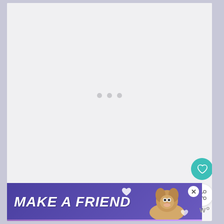[Figure (screenshot): A loading placeholder area with three small grey dots centered on a light grey background, indicating content is loading.]
How would it feel to suddenly have your account blocked or have no
[Figure (infographic): Advertisement banner reading 'MAKE A FRIEND' with a dog photo, heart icons, and a purple gradient background with a close button.]